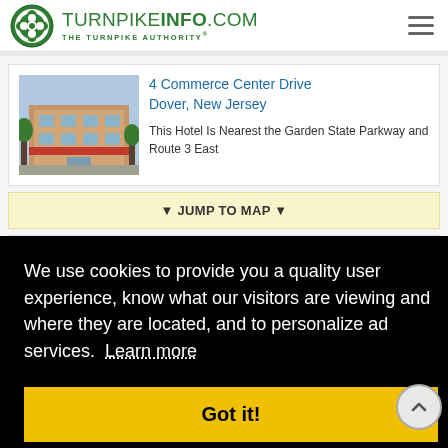TURNPIKEINFO.COM THE TURNPIKE AUTHORITY®
4 Commerce Center Drive
Dover, New Jersey
This Hotel Is Nearest the Garden State Parkway and Route 3 East
▼ JUMP TO MAP ▼
Hotel Amenities
We use cookies to provide you a quality user experience, know what our visitors are viewing and where they are located, and to personalize ad services. Learn more
Got it!
▼ ALL AMENITIES ▼